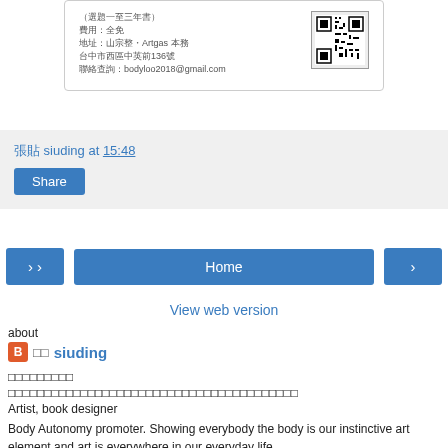[Figure (other): Business card with Chinese text, address, email, and QR code]
張貼 siuding at 15:48
Share
Home
View web version
about
🟧 □□ siuding
□□□□□□□□□
□□□□□□□□□□□□□□□□□□□□□□□□□□□□□□□□□□□□□□□□
Artist, book designer
Body Autonomy promoter. Showing everybody the body is our instinctive art element and art is everywhere in our everyday life